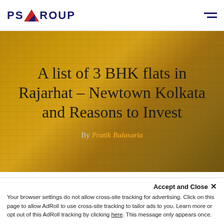PS GROUP [logo]
A list of 3 BHK flats in Rajarhat – Newtown Kolkata and Reasons to Invest
By Pratik Balasaria
Accept and Close ×
Your browser settings do not allow cross-site tracking for advertising. Click on this page to allow AdRoll to use cross-site tracking to tailor ads to you. Learn more or opt out of this AdRoll tracking by clicking here. This message only appears once.